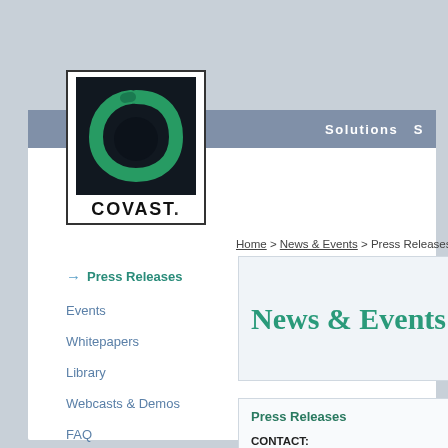[Figure (logo): Covast logo — black square with a green circular brushstroke, text 'COVAST.' below]
Solutions S
Home > News & Events > Press Releases
→ Press Releases
Events
Whitepapers
Library
Webcasts & Demos
FAQ
Newsletters
News & Events
Press Releases
CONTACT:
Jean Barnes
Covast Corporation
(404)812.7157
jbarnes@covast.com